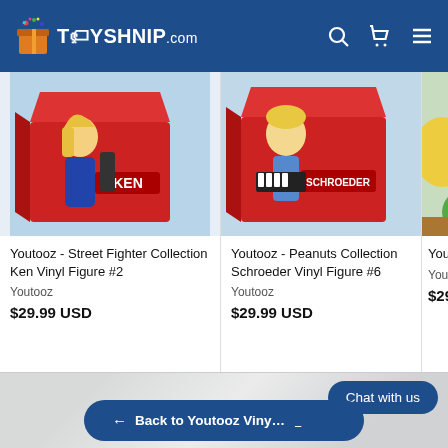TOYSHNIP.com
[Figure (screenshot): Youtooz Street Fighter Collection Ken Vinyl Figure #2 product card image]
Youtooz - Street Fighter Collection Ken Vinyl Figure #2
Youtooz
$29.99 USD
[Figure (screenshot): Youtooz Peanuts Collection Schroeder Vinyl Figure #6 product card image]
Youtooz - Peanuts Collection Schroeder Vinyl Figure #6
Youtooz
$29.99 USD
[Figure (screenshot): Youtooz Collection Vinyl Figure partial product card image]
Youtooz
$29.999
Chat with us
← Back to Youtooz Viny…